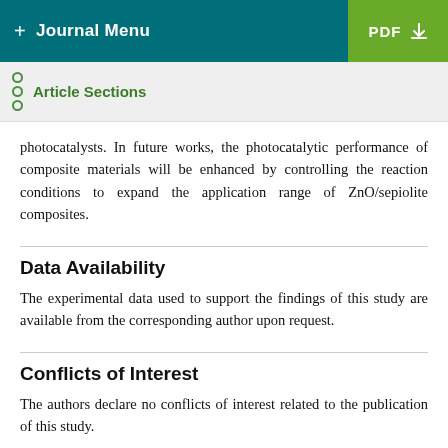+ Journal Menu | PDF
Article Sections
photocatalysts. In future works, the photocatalytic performance of composite materials will be enhanced by controlling the reaction conditions to expand the application range of ZnO/sepiolite composites.
Data Availability
The experimental data used to support the findings of this study are available from the corresponding author upon request.
Conflicts of Interest
The authors declare no conflicts of interest related to the publication of this study.